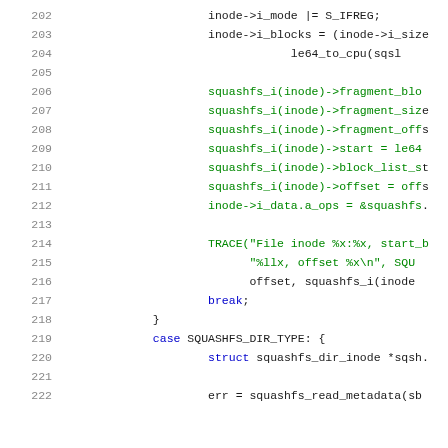[Figure (screenshot): Source code listing showing C kernel code for squashfs inode handling, lines 202-222. Lines shown include inode mode assignment, block calculations, squashfs_i macro field assignments for fragment_block, fragment_size, fragment_offset, start, block_list_start, offset, i_data.a_ops, TRACE call, break statement, closing brace, case SQUASHFS_DIR_TYPE with struct and err assignments.]